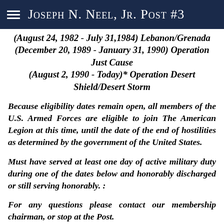Joseph N. Neel, Jr. Post #3
(August 24, 1982 - July 31,1984) Lebanon/Grenada (December 20, 1989 - January 31, 1990) Operation Just Cause (August 2, 1990 - Today)* Operation Desert Shield/Desert Storm
Because eligibility dates remain open, all members of the U.S. Armed Forces are eligible to join The American Legion at this time, until the date of the end of hostilities as determined by the government of the United States.
Must have served at least one day of active military duty during one of the dates below and honorably discharged or still serving honorably. :
For any questions please contact our membership chairman, or stop at the Post.